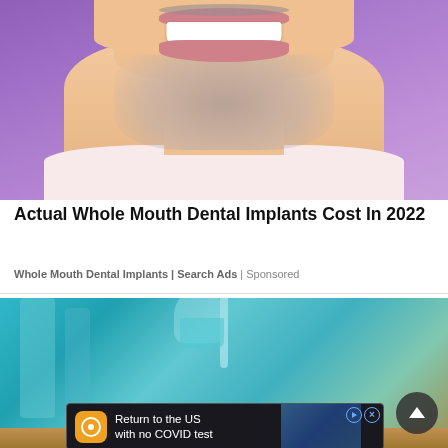[Figure (photo): Middle-aged man with gray stubble beard smiling broadly, wearing a light pink shirt, against a purple background. Photo is cropped to show from forehead/smile area down to upper chest.]
Actual Whole Mouth Dental Implants Cost In 2022
Whole Mouth Dental Implants | Search Ads | Sponsored
[Figure (photo): Partial view of a person holding a glass, with teal/turquoise background. A scroll-to-top button (dark circle with upward arrow) is visible at the bottom right.]
[Figure (infographic): Advertisement banner reading 'Return to the US with no COVID test' with an orange app icon on left and travel image on right. Blue play and close buttons visible in top right corner.]